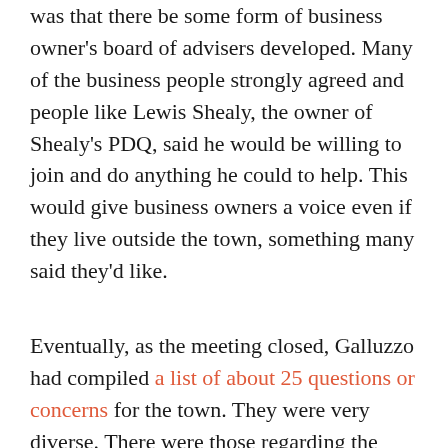was that there be some form of business owner's board of advisers developed. Many of the business people strongly agreed and people like Lewis Shealy, the owner of Shealy's PDQ, said he would be willing to join and do anything he could to help. This would give business owners a voice even if they live outside the town, something many said they'd like.
Eventually, as the meeting closed, Galluzzo had compiled a list of about 25 questions or concerns for the town. They were very diverse. There were those regarding the mobile home parks, and some